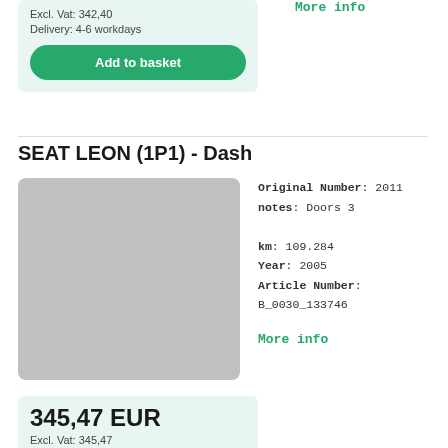Excl. Vat: 342,40
Delivery: 4-6 workdays
Add to basket
More info
SEAT LEON (1P1) - Dash
[Figure (photo): Gray placeholder image for SEAT LEON (1P1) Dash product]
Original Number: 2011
notes: Doors 3
km: 109.284
Year: 2005
Article Number:
B_0030_133746
More info
345,47 EUR
Excl. Vat: 345,47